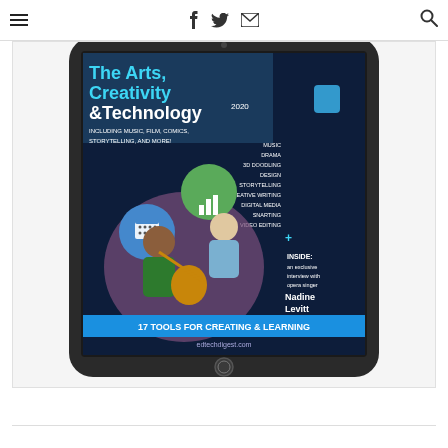Navigation bar with menu, social icons (Facebook, Twitter, Email), and search
[Figure (illustration): A tablet/iPad displaying the cover of an EdTech Digest magazine issue themed 'The Arts, Creativity & Technology 2020'. The cover shows illustrated characters including a child playing guitar and an adult, along with app icons (calendar, bar chart). Text on cover includes: 'The Arts, Creativity & Technology 2020', 'INCLUDING MUSIC, FILM, COMICS, STORYTELLING, AND MORE!', topic list (MUSIC, DRAMA, 3D DOODLING, DESIGN, STORYTELLING, CREATIVE WRITING, DIGITAL MEDIA, SNARTING, VIDEO EDITING), 'INSIDE: an exclusive interview with opera singer Nadine Levitt', '17 TOOLS FOR CREATING & LEARNING', 'edtechdigest.com'. The tablet is shown in a dark frame/bezel on a white background.]